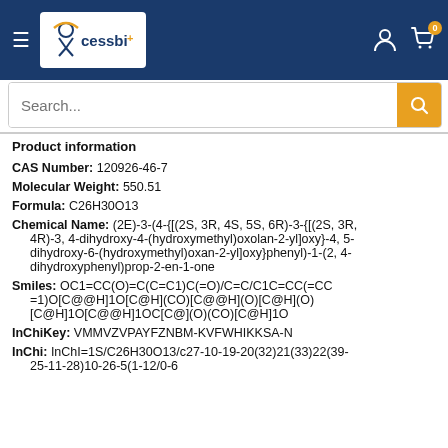[Figure (logo): Xcessbio logo with blue background, hamburger menu icon, white logo box with person figure and arc, cart icon with badge '0']
[Figure (screenshot): Search bar with placeholder text 'Search...' and gold/orange search button]
Product information
CAS Number: 120926-46-7
Molecular Weight: 550.51
Formula: C26H30O13
Chemical Name: (2E)-3-(4-{[(2S, 3R, 4S, 5S, 6R)-3-{[(2S, 3R, 4R)-3, 4-dihydroxy-4-(hydroxymethyl)oxolan-2-yl]oxy}-4, 5-dihydroxy-6-(hydroxymethyl)oxan-2-yl]oxy}phenyl)-1-(2, 4-dihydroxyphenyl)prop-2-en-1-one
Smiles: OC1=CC(O)=C(C=C1)C(=O)/C=C/C1C=CC(=CC=1)O[C@@H]1O[C@H](CO)[C@@H](O)[C@H](O)[C@H]1O[C@@H]1OC[C@](O)(CO)[C@H]1O
InChiKey: VMMVZVPAYFZNBM-KVFWHIKKSA-N
InChi: InChI=1S/C26H30O13/c27-10-19-20(32)21(33)22(39-25-11-28)10-26-5(1-12/0-6